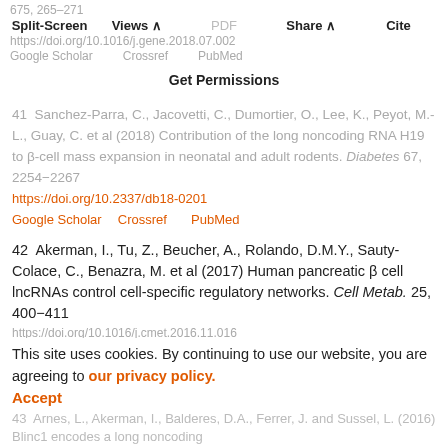675, 265–271
Split-Screen   Views   PDF   Share   Cite
https://doi.org/10.1016/j.gene.2018.07.002
Google Scholar   Crossref   PubMed
Get Permissions
41  Sanchez-Parra, C., Jacovetti, C., Dumortier, O., Lee, K., Peyot, M.-L., Guay, C. et al (2018) Contribution of the long noncoding RNA H19 to β-cell mass expansion in neonatal and adult rodents. Diabetes 67, 2254–2267
https://doi.org/10.2337/db18-0201
Google Scholar   Crossref   PubMed
42  Akerman, I., Tu, Z., Beucher, A., Rolando, D.M.Y., Sauty-Colace, C., Benazra, M. et al (2017) Human pancreatic β cell lncRNAs control cell-specific regulatory networks. Cell Metab. 25, 400–411
https://doi.org/10.1016/j.cmet.2016.11.016
This site uses cookies. By continuing to use our website, you are agreeing to our privacy policy.
Accept
43  Arnes, L., Akerman, I., Balderes, D.A., Ferrer, J. and Sussel, L. (2016) Blinc1 encodes a long noncoding